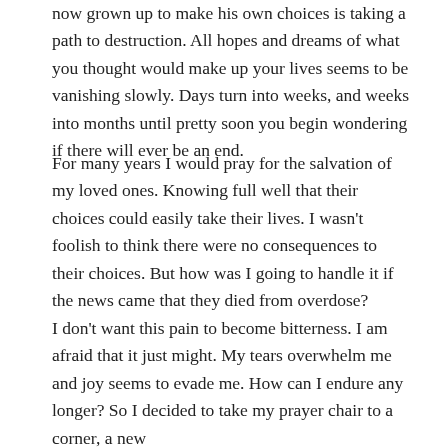now grown up to make his own choices is taking a path to destruction. All hopes and dreams of what you thought would make up your lives seems to be vanishing slowly. Days turn into weeks, and weeks into months until pretty soon you begin wondering if there will ever be an end.
For many years I would pray for the salvation of my loved ones. Knowing full well that their choices could easily take their lives. I wasn't foolish to think there were no consequences to their choices. But how was I going to handle it if the news came that they died from overdose?
I don't want this pain to become bitterness. I am afraid that it just might. My tears overwhelm me and joy seems to evade me. How can I endure any longer? So I decided to take my prayer chair to a corner, a new